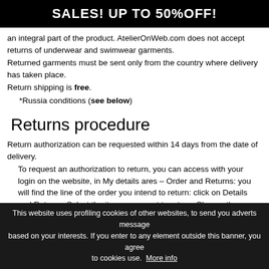SALES! UP TO 50%OFF!
an integral part of the product. AtelierOnWeb.com does not accept returns of underwear and swimwear garments.
Returned garments must be sent only from the country where delivery has taken place.
Return shipping is free.
*Russia conditions (see below)
Returns procedure
Return authorization can be requested within 14 days from the date of delivery.
To request an authorization to return, you can access with your login on the website, in My details ares – Order and Returns: you will find the line of the order you intend to return: click on Details and Returns. Select the items you want to return. Choose the method of refund between the refund, a voucher or a size exchange and
This website uses profiling cookies of other websites, to send you adverts messages based on your interests. If you enter to any element outside this banner, you agree to cookies use. More info